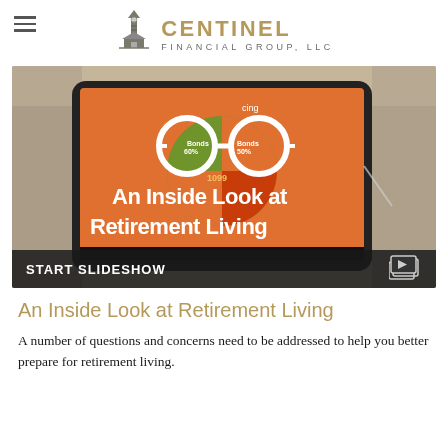CENTINEL FINANCIAL GROUP, LLC
[Figure (photo): Hero image showing a tablet device in a bag displaying a pie chart graphic with text 'An Inside Look at Retirement Living' overlaid in white bold text, with a 'START SLIDESHOW' bar at the bottom.]
An Inside Look at Retirement Living
A number of questions and concerns need to be addressed to help you better prepare for retirement living.